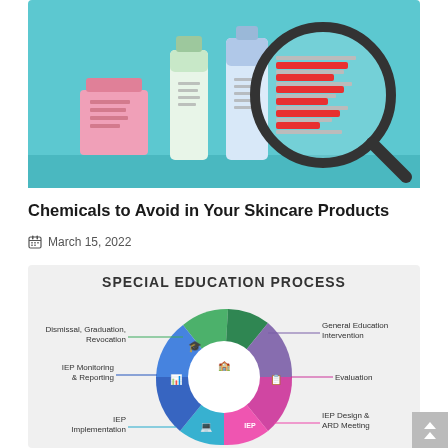[Figure (illustration): Skincare product containers (jar, tube, bottle) with a magnifying glass showing red and gray text lines representing ingredient labels, on a teal background]
Chemicals to Avoid in Your Skincare Products
March 15, 2022
[Figure (infographic): Special Education Process circular diagram showing a cycle with segments: General Education Intervention, Evaluation, IEP Design & ARD Meeting, IEP Implementation, IEP Monitoring & Reporting, Dismissal/Graduation/Revocation. Each segment has an icon and is color-coded (purple, magenta, cyan, blue, green, dark green).]